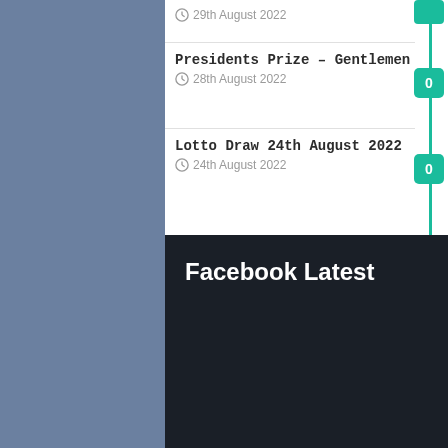29th August 2022
Presidents Prize – Gentlemen
28th August 2022
0
Lotto Draw 24th August 2022
24th August 2022
0
Facebook Latest